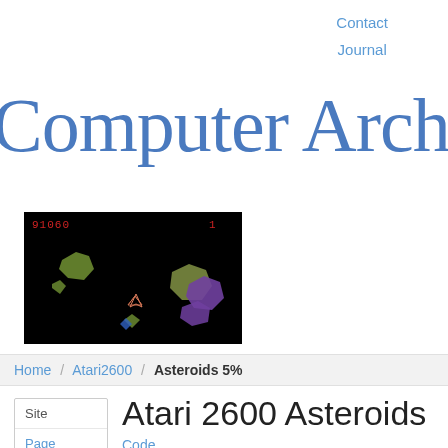Contact
Journal
Computer Archeolo
[Figure (screenshot): Screenshot of Atari 2600 Asteroids game showing a black background with colored asteroid shapes (green/olive, purple/violet), a small spaceship in the center, and a red score display showing 91860 at the top left and 1 at top right.]
Home / Atari2600 / Asteroids 5%
Site
Page
Atari 2600 Asteroids
Code